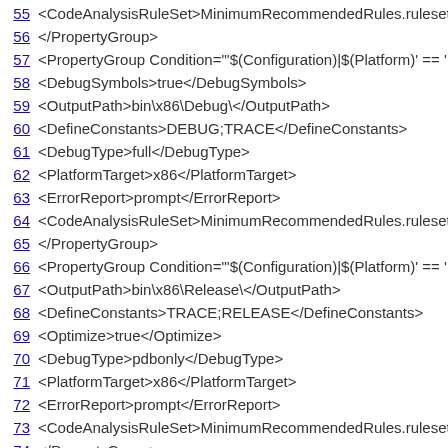55  <CodeAnalysisRuleSet>MinimumRecommendedRules.ruleset</
56  </PropertyGroup>
57  <PropertyGroup Condition="'$(Configuration)|$(Platform)' == 'D
58  <DebugSymbols>true</DebugSymbols>
59  <OutputPath>bin\x86\Debug\</OutputPath>
60  <DefineConstants>DEBUG;TRACE</DefineConstants>
61  <DebugType>full</DebugType>
62  <PlatformTarget>x86</PlatformTarget>
63  <ErrorReport>prompt</ErrorReport>
64  <CodeAnalysisRuleSet>MinimumRecommendedRules.ruleset</
65  </PropertyGroup>
66  <PropertyGroup Condition="'$(Configuration)|$(Platform)' == 'R
67  <OutputPath>bin\x86\Release\</OutputPath>
68  <DefineConstants>TRACE;RELEASE</DefineConstants>
69  <Optimize>true</Optimize>
70  <DebugType>pdbonly</DebugType>
71  <PlatformTarget>x86</PlatformTarget>
72  <ErrorReport>prompt</ErrorReport>
73  <CodeAnalysisRuleSet>MinimumRecommendedRules.ruleset</
74  </PropertyGroup>
75  <PropertyGroup Condition="'$(Configuration)|$(Platform)' == 'A Configurations|x86'">
76  <OutputPath>bin\x86\All Configurations\</OutputPath>
77  <PlatformTarget>x86</PlatformTarget>
78  <CodeAnalysisRuleSet>MinimumRecommendedRules.ruleset</